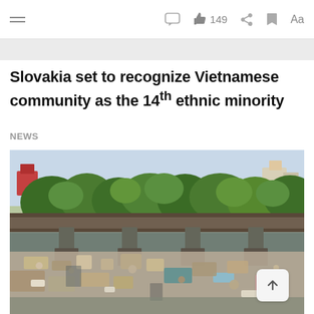≡  [comment icon]  👍 149  [share icon]  [bookmark icon]  Aa
Slovakia set to recognize Vietnamese community as the 14th ethnic minority
NEWS
[Figure (photo): Aerial or elevated view of a polluted river or waterway with large amounts of trash and debris covering the water surface. An old concrete bridge with multiple pillars spans the river. Lush green trees and vegetation line the banks in the background, with buildings visible through the foliage.]